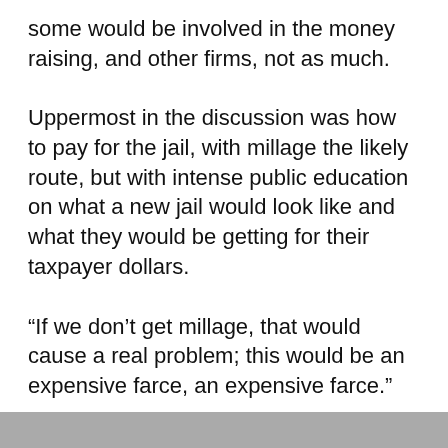some would be involved in the money raising, and other firms, not as much.
Uppermost in the discussion was how to pay for the jail, with millage the likely route, but with intense public education on what a new jail would look like and what they would be getting for their taxpayer dollars.
“If we don’t get millage, that would cause a real problem; this would be an expensive farce, an expensive farce.”
Geiger said several times he did not want to bring a millage request to voters more than once. “I want to do it once and do it right… I have too much respect for voters.”